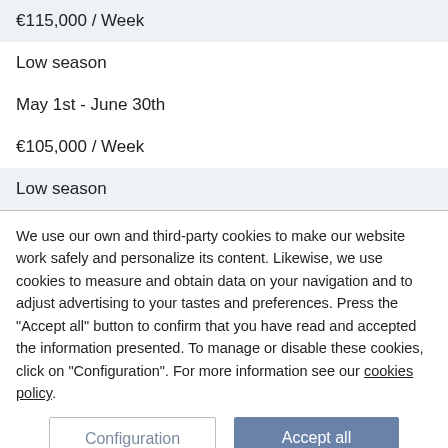€115,000 / Week
Low season
May 1st - June 30th
€105,000 / Week
Low season
We use our own and third-party cookies to make our website work safely and personalize its content. Likewise, we use cookies to measure and obtain data on your navigation and to adjust advertising to your tastes and preferences. Press the "Accept all" button to confirm that you have read and accepted the information presented. To manage or disable these cookies, click on "Configuration". For more information see our cookies policy.
Configuration
Accept all